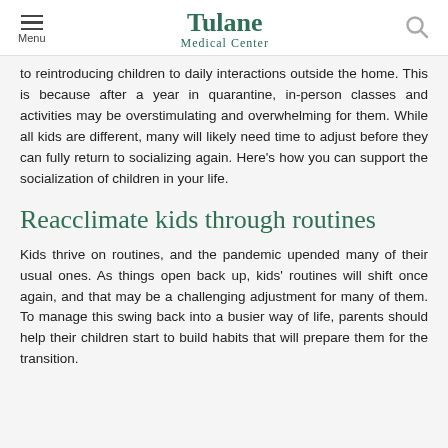Tulane Medical Center
to reintroducing children to daily interactions outside the home. This is because after a year in quarantine, in-person classes and activities may be overstimulating and overwhelming for them. While all kids are different, many will likely need time to adjust before they can fully return to socializing again. Here's how you can support the socialization of children in your life.
Reacclimate kids through routines
Kids thrive on routines, and the pandemic upended many of their usual ones. As things open back up, kids' routines will shift once again, and that may be a challenging adjustment for many of them. To manage this swing back into a busier way of life, parents should help their children start to build habits that will prepare them for the transition.